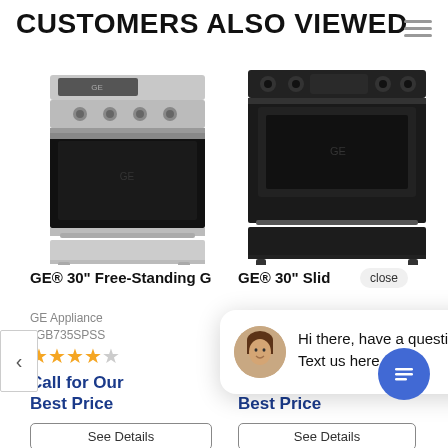CUSTOMERS ALSO VIEWED
[Figure (photo): GE 30-inch Free-Standing Gas Range in stainless steel finish]
GE® 30" Free-Standing G
GE Appliance
JGB735SPSS
★★★★☆
Call for Our Best Price
See Details
[Figure (photo): GE 30-inch Slide-in Gas Range in black slate finish]
GE® 30" Slid
Call for Our Best Price
See Details
Hi there, have a question? Text us here.